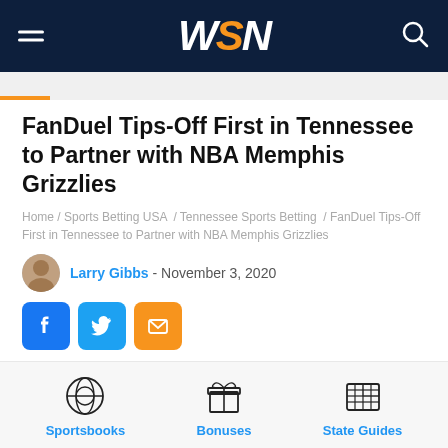WSN
FanDuel Tips-Off First in Tennessee to Partner with NBA Memphis Grizzlies
Home / Sports Betting USA / Tennessee Sports Betting / FanDuel Tips-Off First in Tennessee to Partner with NBA Memphis Grizzlies
Larry Gibbs - November 3, 2020
[Figure (screenshot): Social share buttons: Facebook, Twitter, Email]
Sportsbooks | Bonuses | State Guides